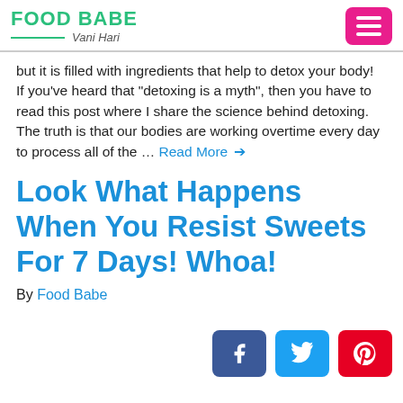FOOD BABE Vani Hari
but it is filled with ingredients that help to detox your body!  If you’ve heard that “detoxing is a myth”, then you have to read this post where I share the science behind detoxing. The truth is that our bodies are working overtime every day to process all of the … Read More →
Look What Happens When You Resist Sweets For 7 Days! Whoa!
By Food Babe
[Figure (infographic): Social sharing buttons: Facebook (blue), Twitter (light blue), Pinterest (red)]